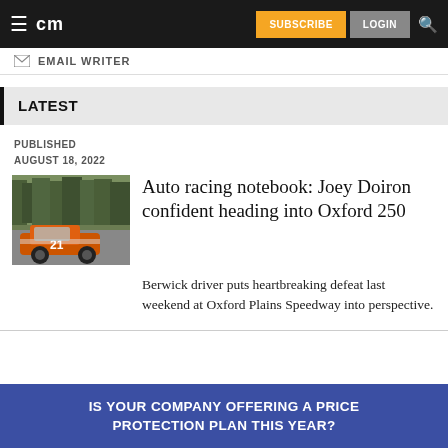cm | SUBSCRIBE | LOGIN
EMAIL WRITER
LATEST
PUBLISHED
AUGUST 18, 2022
[Figure (photo): Race car number 21, orange and white, on a track with trees in the background]
Auto racing notebook: Joey Doiron confident heading into Oxford 250
Berwick driver puts heartbreaking defeat last weekend at Oxford Plains Speedway into perspective.
IS YOUR COMPANY OFFERING A PRICE PROTECTION PLAN THIS YEAR?